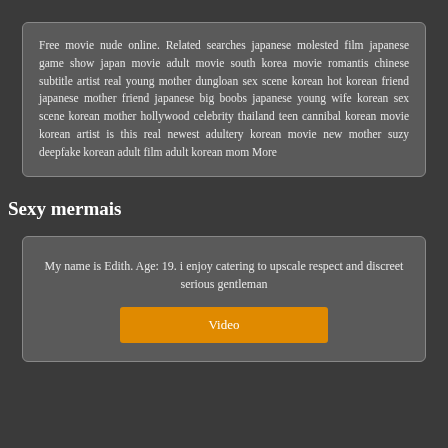Free movie nude online. Related searches japanese molested film japanese game show japan movie adult movie south korea movie romantis chinese subtitle artist real young mother dungloan sex scene korean hot korean friend japanese mother friend japanese big boobs japanese young wife korean sex scene korean mother hollywood celebrity thailand teen cannibal korean movie korean artist is this real newest adultery korean movie new mother suzy deepfake korean adult film adult korean mom More
Sexy mermais
My name is Edith. Age: 19. i enjoy catering to upscale respect and discreet serious gentleman